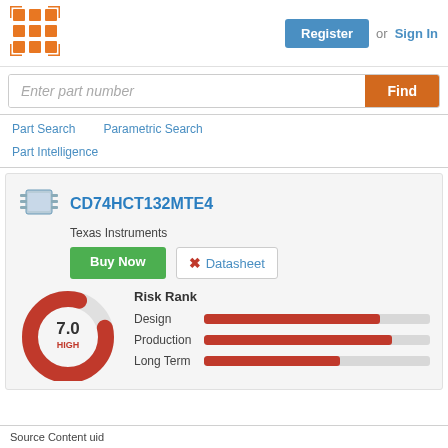[Figure (logo): Orange grid/chip logo icon]
Register or Sign In
Enter part number / Find
Part Search   Parametric Search
Part Intelligence
CD74HCT132MTE4
Texas Instruments
Buy Now
Datasheet
[Figure (donut-chart): Donut chart showing 7.0 HIGH risk rank. Red arc covers approximately 3/4 of the ring.]
Risk Rank
Design
Production
Long Term
Source Content uid